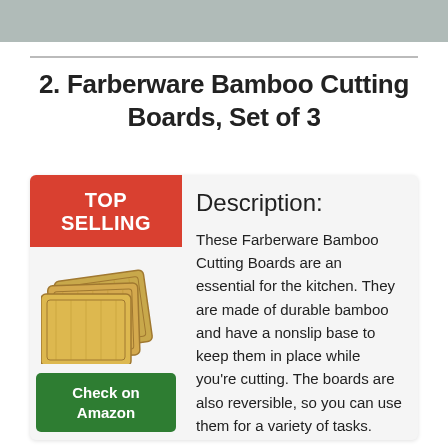2. Farberware Bamboo Cutting Boards, Set of 3
[Figure (illustration): Red 'TOP SELLING' badge above a product image of bamboo cutting boards (stacked set of 3), and a green 'Check on Amazon' button below]
Description:
These Farberware Bamboo Cutting Boards are an essential for the kitchen. They are made of durable bamboo and have a nonslip base to keep them in place while you're cutting. The boards are also reversible, so you can use them for a variety of tasks. They come in a set of